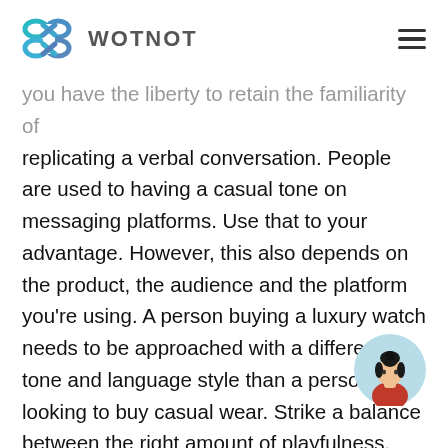WOTNOT
you have the liberty to retain the familiarity of replicating a verbal conversation. People are used to having a casual tone on messaging platforms. Use that to your advantage. However, this also depends on the product, the audience and the platform you're using. A person buying a luxury watch needs to be approached with a different tone and language style than a person looking to buy casual wear. Strike a balance between the right amount of playfulness, formality and personalization.
[Figure (illustration): Avatar illustration of a person with dark hair in a bun, wearing a red top, on a light blue circular background]